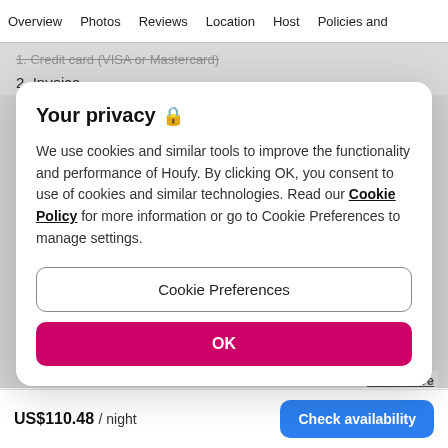Overview  Photos  Reviews  Location  Host  Policies and
1. Credit card (VISA or Mastercard)
2. Invoice…
Your privacy 🔒
We use cookies and similar tools to improve the functionality and performance of Houfy. By clicking OK, you consent to use of cookies and similar technologies. Read our Cookie Policy for more information or go to Cookie Preferences to manage settings.
Cookie Preferences
OK
Read more
US$110.48 / night
Check availability